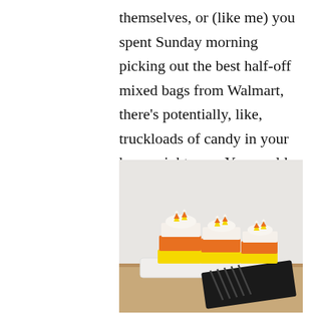themselves, or (like me) you spent Sunday morning picking out the best half-off mixed bags from Walmart, there's potentially, like, truckloads of candy in your house right now. You could eat it all straight from the wrapper ...
[Figure (photo): Three small layered mini cakes decorated like candy corn — yellow base layer, orange middle layer, white top layer with whipped cream and candy corn pieces on top, arranged on a white rectangular plate with a black cloth napkin, on a wooden surface.]